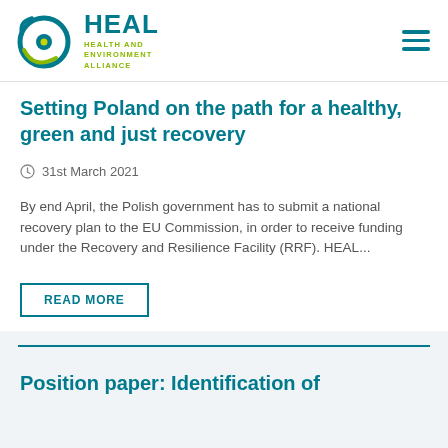HEAL — Health and Environment Alliance
Setting Poland on the path for a healthy, green and just recovery
31st March 2021
By end April, the Polish government has to submit a national recovery plan to the EU Commission, in order to receive funding under the Recovery and Resilience Facility (RRF). HEAL...
READ MORE
Position paper: Identification of